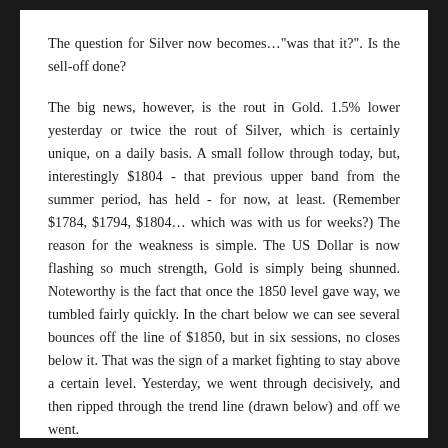The question for Silver now becomes..."was that it?". Is the sell-off done?
The big news, however, is the rout in Gold. 1.5% lower yesterday or twice the rout of Silver, which is certainly unique, on a daily basis. A small follow through today, but, interestingly $1804 - that previous upper band from the summer period, has held - for now, at least. (Remember $1784, $1794, $1804... which was with us for weeks?) The reason for the weakness is simple. The US Dollar is now flashing so much strength, Gold is simply being shunned. Noteworthy is the fact that once the 1850 level gave way, we tumbled fairly quickly. In the chart below we can see several bounces off the line of $1850, but in six sessions, no closes below it. That was the sign of a market fighting to stay above a certain level. Yesterday, we went through decisively, and then ripped through the trend line (drawn below) and off we went.